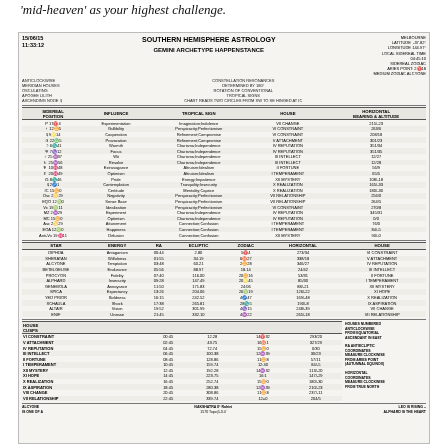'mid-heaven' as your highest challenge.
| SIDEREAL POSITION | INFLUENCE | TROPICAL SIGN | HOUSE | HORIZONTAL BEARING & ALTITUDE |
| --- | --- | --- | --- | --- |
| P 17♈4 | Experimentation | Imagination;Indolence | VII CHANGE | 215/-23 |
| ♀ 12♊5 | Gullibility | Perspicacity;Perfectionism | VI CONSTRAINT | 263/6 |
| ☿ 9♌14 | Cooperation | Refinement;Compromise | VI CONSTRAINT | 208/18 |
| ♃ 22♎5 | Provocation | Refinement;Compromise | V ATTACHMENT | 301/23 |
| ☽ 6♏41 | Warmth | Charisma;Independence | IV REPUTATION | 351/34 |
| ♅ 7♑12 | Focus | Charisma;Independence | IV REPUTATION | 351/35 |
| ♂ 25♒37 | Wit | Charisma;Independence | III INTELLECT | 12/27 |
| ♄ 25♒56 | Resolve | Charisma;Independence | III INTELLECT | 12/28 |
| ♆ 10♓48 | Extravagance | Altruism;Idealism | II FORTUNE | 56/9 |
| ♇ 20♓49 | Optimism | Altruism;Idealism | I TEMPERAMENT | 65/5 |
| ☊ 8♏46 | Pride | Energy;Impatience | XII MYSTERY | 108/-18 |
| ☿ 2♐1 | Contemplation | Tranquility;Insecurity | X REALIZATION | 165/-33 |
| IC 15♊0 | Certitude | Mentality;Caprice | X REALIZATION | 180/-30 |
| Dsc 2♋29 | Negativity | Perspicacity;Perfectionism | VII RELATIONSHIP | 256/0 |
| EQO 12♍0 | Sense Base | Perspicacity;Perfectionism | VII RELATIONSHIP | 264/5 |
| Vx 19♍11 | Idealization | Perspicacity;Perfectionism | VI CONSTRAINT | 270/8 |
| MZ 2♒29 | Experiment | Charisma;Independence | IV REPUTATION | 345/31 |
| MC 15♊0 | Optimism | Charisma;Independence | IV REPUTATION | 0/0 |
| Asc 2♋29 | Attunement | Connection;Confusion | I TEMPERAMENT | 76/0 |
| EOA 12♍0 | Happiness | Connection;Confusion | I TEMPERAMENT | 84/-5 |
| Anti-Vx 19♓11 | Delusion | Connection;Confusion | XII MYSTERY | 90/-0 |
| STAR | ENERGY | RA | ECLIPTIC | ZODIAC | HORIZONTAL | HOUSE |
| --- | --- | --- | --- | --- | --- | --- |
| DIPHDA | Antagonism | 00:44 | 2.80 | 5♈4 | 273/34 | VI CONSTRAINT |
| SHERATAN | Wilfulness | 01:55 | 34.19 | 6♉27 | 338/18 | V ATTACHMENT |
| ALCYONE | Temptation | 03:48 | 60.21 | 2♊28 | 346/27 | IV REPUTATION |
| BETELGEUSE | Endurance | 05:56 | 88.97 | 18.14 | 24/42 | III INTELLECT |
| PROCYON | Fidelity | 07:40 | 116.00 | 20♊16 | 53/31 | II FORTUNE |
| ALPHARD | Insecurity | 09:28 | 147.49 | 20♌45 | 85/30 | I TEMPERAMENT |
| GENEBOLA | Annoyance | 11:50 | 171.83 | 24:06 | 88/-21 | XII MYSTERY |
| SPICA | Expectancy | 13:26 | 204.06 | 26♍19 | 126/-22 | XI HOPE |
| YED PRIOR | Boldness | 16:15 | 242.52 | 4♐47 | 169/-48 | X REALIZATION |
| SCHAULA | Shock | 17:38 | 265.81 | 28♏5 | 190/-8 | IX ASPIRATION |
| ALTAIR | Vision | 19:52 | 301.99 | 4♑15 | 248/-39 | VII CHANGE |
| ENIF | Unease | 21:45 | 332.10 | 4♒22 | 265/-18 | VII RELATIONSHIP |
| HOUSE CUSPS |  |  |  |  |  |
| --- | --- | --- | --- | --- | --- |
| VI CONSTRAINT | 00:45 | 12.28 | 14♈32 | 293/20 |  |
| V ATTACHMENT | 02:45 | 43.75 | 16♉1 | 327/29 | HOUSES NUMBERED ANTICLOCKWISE FROM EQUATORIAL ASCENDANT IN EAST |
| IV REPUTATION | 04:45 | 72.74 | 15♊0 | 0/30 |  |
| III INTELLECT | 06:45 | 100.38 | 12♒39 | 30/23 |  |
| II FORTUNE | 08:45 | 128.86 | 11♊8 | 57/11 | RA ANTIECLIPTIC COORDINATES MEASURE CLOCKWISE FROM ARIES POINT (AUTUMNAL EQUINOX) |
| I TEMPERAMENT | 10:45 | 159.74 | 12:40 | 84/-5 |  |
| XII MYSTERY | 12:45 | 192.28 | 14♒32 | 113/-20 |  |
| XI HOPE | 14:45 | 223.75 | 16:1 | 147/-29 |  |
| X REALIZATION | 16:45 | 252.74 | 15♊0 | 180/-30 |  |
| IX ASPIRATION | 18:45 | 280.38 | 12♒39 | 210/-23 | HORIZONTAL COORDINATES MEASURE CLOCKWISE FROM TRUE NORTH |
| VIII CHANGE | 20:45 | 308.86 | 11♊8 | 237/-11 |  |
| VII RELATIONSHIP | 22:45 | 339.74 | 12=0 | 204/5 |  |
ALCYONE IS ONE OF A
NAKSHATRA 0° Rohini 1570 Topo β-3.4'
LEO IS RISING – ALPHARD IS THE HEART